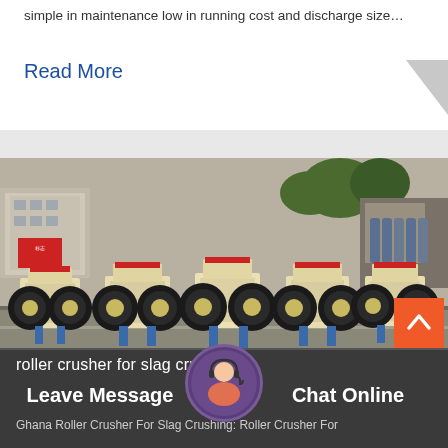simple in maintenance low in running cost and discharge size…
Read More
[Figure (photo): Five roller crusher machines lined up in an outdoor industrial yard, showing cream/beige colored bodies with large black flywheels and red-trimmed hoppers, sitting on blue stands on a concrete surface. Industrial buildings and gas cylinders visible in background.]
roller crusher for slag crushing
Leave Message
Chat Online
Ghana Roller Crusher For Slag Crushing: Roller Crusher For